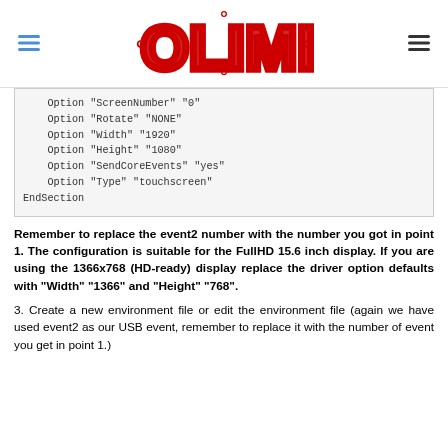OLIMEX
Option "ScreenNumber" "0"
    Option "Rotate" "NONE"
    Option "Width" "1920"
    Option "Height" "1080"
    Option "SendCoreEvents" "yes"
    Option "Type" "touchscreen"
EndSection
Remember to replace the event2 number with the number you got in point 1. The configuration is suitable for the FullHD 15.6 inch display. If you are using the 1366x768 (HD-ready) display replace the driver option defaults with "Width" "1366" and "Height" "768".
3. Create a new environment file or edit the environment file (again we have used event2 as our USB event, remember to replace it with the number of event you get in point 1.)